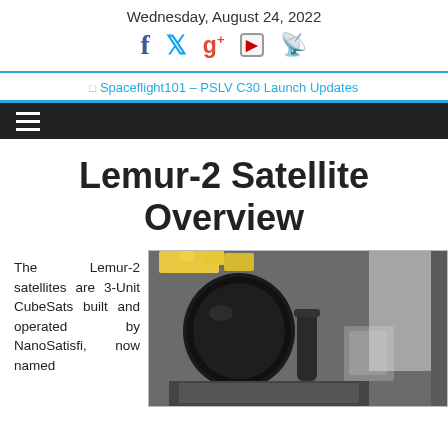Wednesday, August 24, 2022
[Figure (logo): Social media icons: Facebook, Twitter, Google+, YouTube, RSS]
[Figure (logo): Spaceflight101 – PSLV C30 Launch Updates logo/banner]
Lemur-2 Satellite Overview
The Lemur-2 satellites are 3-Unit CubeSats built and operated by NanoSatisfi, now named